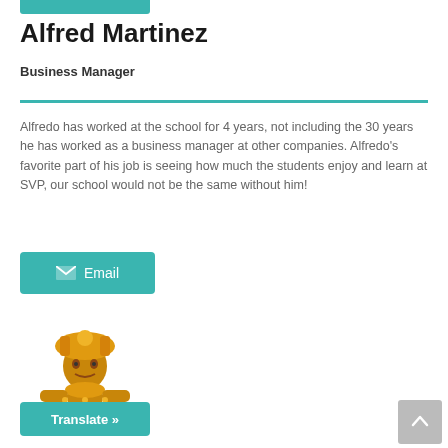[Figure (illustration): Partial view of a cartoon/avatar profile image with teal background at top of page]
Alfred Martinez
Business Manager
Alfredo has worked at the school for 4 years, not including the 30 years he has worked as a business manager at other companies. Alfredo's favorite part of his job is seeing how much the students enjoy and learn at SVP, our school would not be the same without him!
[Figure (illustration): Teal button with envelope icon and 'Email' text]
[Figure (illustration): Mayan/Aztec decorative figure illustration in brown and gold tones]
Translate »
[Figure (illustration): Scroll-to-top button (grey square with upward arrow)]